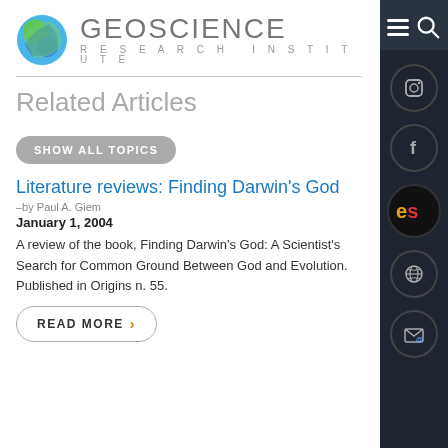[Figure (logo): Geoscience Research Institute logo with globe icon and text]
Related Articles
SHOW ALL TOPICS
Literature reviews: Finding Darwin's God
–by Paul A. Giem
January 1, 2004
A review of the book, Finding Darwin's God: A Scientist's Search for Common Ground Between God and Evolution. Published in Origins n. 55.
READ MORE >